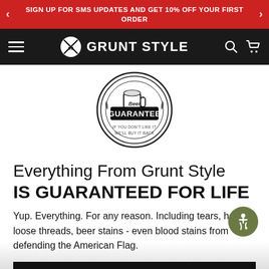SIGN UP FOR SMS UPDATES AND GET 10% OFF YOUR FIRST ORDER
[Figure (logo): Grunt Style navigation bar with hamburger menu, Grunt Style logo/text, search and cart icons on black background]
[Figure (logo): Beer Guarantee circular badge logo in black and white]
Everything From Grunt Style IS GUARANTEED FOR LIFE
Yup. Everything. For any reason. Including tears, holes, loose threads, beer stains - even blood stains from defending the American Flag.
ADD TO CART